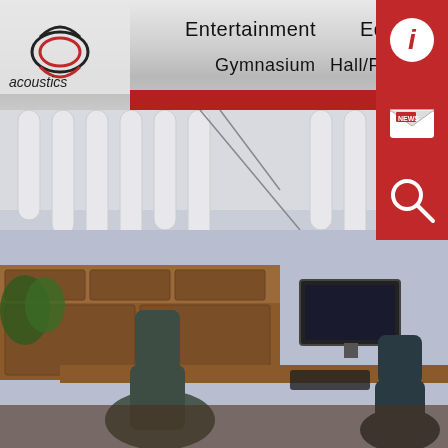[Figure (screenshot): GS Acoustics website screenshot showing logo, navigation bar with Entertainment, Education, Gymnasium, Hall/Foyer, Sanctuary menu items, info/news/search icons on right, and main office room photo with acoustic panels on ceiling]
acoustics
Entertainment
Education
Gymnasium
Hall/Foyer
Sanctuary